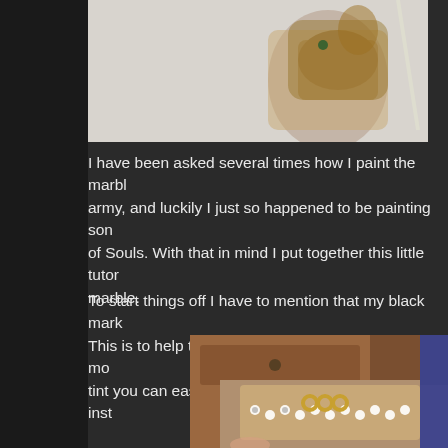[Figure (photo): A painted miniature figurine on horseback, warmly lit against a light background, showing ornate bronze/copper armor and decorative details.]
I have been asked several times how I paint the marble for my army, and luckily I just so happened to be painting some of Souls. With that in mind I put together this little tutorial on marble.
To start things off I have to mention that my black marble has a tint. This is to help tie it in with my army's color scheme more. If you don't want the tint you can easily replicate this tutorial using grey instead.
[Figure (photo): A close-up photo showing miniature bases covered in tiny skull decorations and golden ring ornaments, on a tan/grey textured surface, with wooden furniture in the background.]